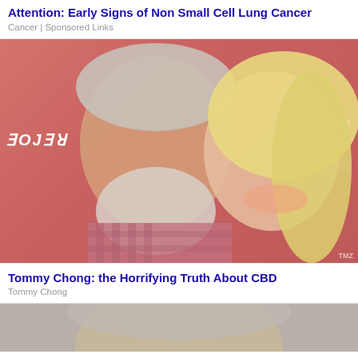Attention: Early Signs of Non Small Cell Lung Cancer
Cancer | Sponsored Links
[Figure (photo): Photo of Tommy Chong and a blonde woman at an event, against a pink/red background with partial text visible]
Tommy Chong: the Horrifying Truth About CBD
Tommy Chong
[Figure (photo): Partial photo at bottom of page showing top of person's head]